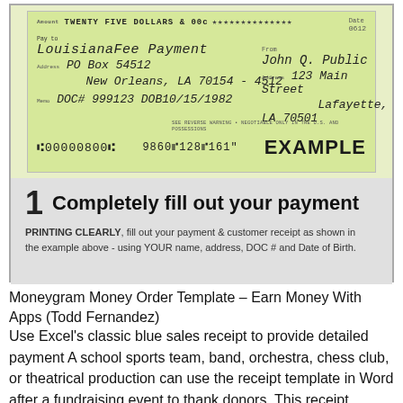[Figure (illustration): Example check made out to Louisiana Fee Payment, PO Box 54512, New Orleans LA 70154-4512, from John Q. Public, 123 Main Street, Lafayette LA 70501. Amount: TWENTY FIVE DOLLARS & 00c. Memo: DOC# 999123 DOB 10/15/1982. Stamped EXAMPLE.]
1  Completely fill out your payment
PRINTING CLEARLY, fill out your payment & customer receipt as shown in the example above - using YOUR name, address, DOC # and Date of Birth.
Moneygram Money Order Template – Earn Money With Apps (Todd Fernandez)
Use Excel's classic blue sales receipt to provide detailed payment A school sports team, band, orchestra, chess club, or theatrical production can use the receipt template in Word after a fundraising event to thank donors. This receipt template guide will discuss everything you need to know about receipts, and why it's important to get it right. Our easy-to-edit template will save you from the hassle since it incorporated with useful.